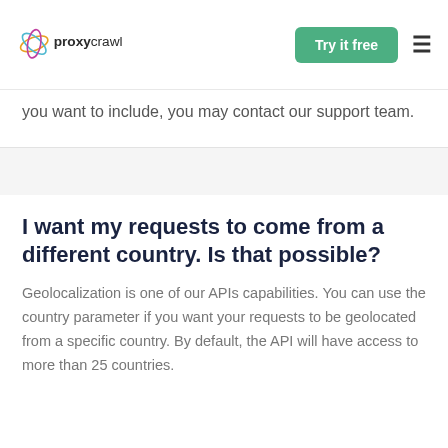proxycrawl | Try it free
you want to include, you may contact our support team.
I want my requests to come from a different country. Is that possible?
Geolocalization is one of our APIs capabilities. You can use the country parameter if you want your requests to be geolocated from a specific country. By default, the API will have access to more than 25 countries.